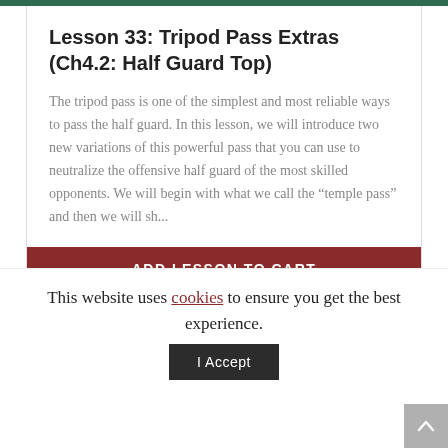Lesson 33: Tripod Pass Extras (Ch4.2: Half Guard Top)
The tripod pass is one of the simplest and most reliable ways to pass the half guard. In this lesson, we will introduce two new variations of this powerful pass that you can use to neutralize the offensive half guard of the most skilled opponents. We will begin with what we call the “temple pass” and then we will sh...
ADD LESSON TO CART
LEARN MORE
This website uses cookies to ensure you get the best experience.
I Accept